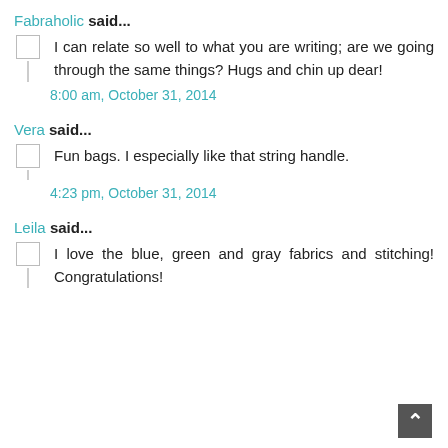Fabraholic said...
I can relate so well to what you are writing; are we going through the same things? Hugs and chin up dear!
8:00 am, October 31, 2014
Vera said...
Fun bags. I especially like that string handle.
4:23 pm, October 31, 2014
Leila said...
I love the blue, green and gray fabrics and stitching! Congratulations!